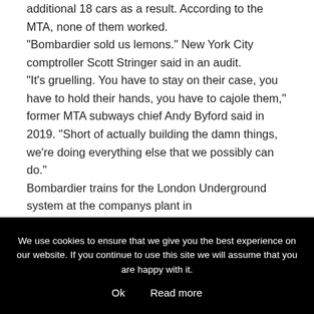additional 18 cars as a result. According to the MTA, none of them worked. "Bombardier sold us lemons." New York City comptroller Scott Stringer said in an audit. "It's gruelling. You have to stay on their case, you have to hold their hands, you have to cajole them," former MTA subways chief Andy Byford said in 2019. "Short of actually building the damn things, we're doing everything else that we possibly can do." Bombardier trains for the London Underground system at the companys plant in
We use cookies to ensure that we give you the best experience on our website. If you continue to use this site we will assume that you are happy with it.
Ok   Read more